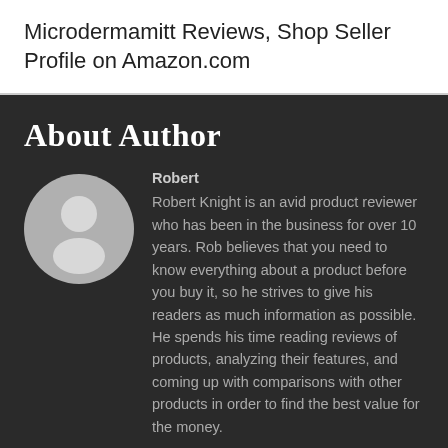Microdermamitt Reviews, Shop Seller Profile on Amazon.com
About Author
[Figure (illustration): Circular grey avatar icon showing a generic human silhouette (head and shoulders) on a light grey background.]
Robert
Robert Knight is an avid product reviewer who has been in the business for over 10 years. Rob believes that you need to know everything about a product before you buy it, so he strives to give his readers as much information as possible. He spends his time reading reviews of products, analyzing their features, and coming up with comparisons with other products in order to find the best value for the money.